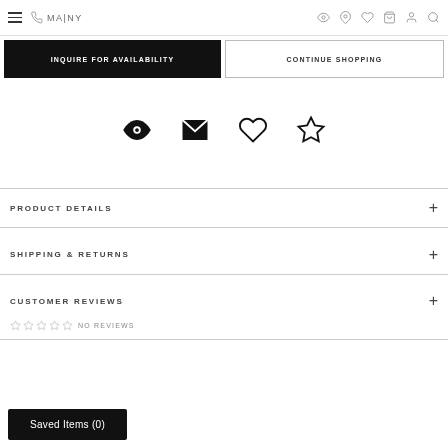MA|NY navigation bar with hamburger menu, phone icon, MA|NY logo, location, heart, bag, user, search icons
INQUIRE FOR AVAILABILITY
CONTINUE SHOPPING
[Figure (infographic): Row of four icons: eye (view), envelope (email), heart (wishlist), star (save/rate)]
PRODUCT DETAILS
SHIPPING & RETURNS
CUSTOMER REVIEWS
NO REVIEWS
Saved Items (0)